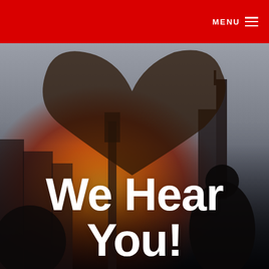MENU
[Figure (photo): Hands forming a heart shape against a sunset city skyline silhouette background]
We Hear You!